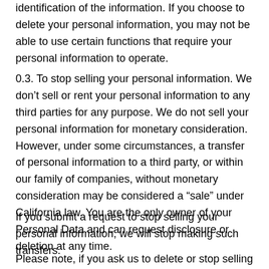identification of the information. If you choose to delete your personal information, you may not be able to use certain functions that require your personal information to operate.
0.3. To stop selling your personal information. We don't sell or rent your personal information to any third parties for any purpose. We do not sell your personal information for monetary consideration. However, under some circumstances, a transfer of personal information to a third party, or within our family of companies, without monetary consideration may be considered a "sale" under California law. You are the only owner of your Personal Data and can request disclosure or deletion at any time.
If you submit a request to stop selling your personal information, we will stop making such transfers.
Please note, if you ask us to delete or stop selling your data,